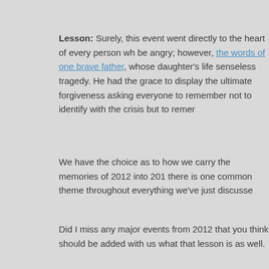Lesson: Surely, this event went directly to the heart of every person wh be angry; however, the words of one brave father, whose daughter's life senseless tragedy. He had the grace to display the ultimate forgiveness asking everyone to remember not to identify with the crisis but to remer
We have the choice as to how we carry the memories of 2012 into 201 there is one common theme throughout everything we've just discusse
Did I miss any major events from 2012 that you think should be added with us what that lesson is as well.
Love and Light,
Sandra